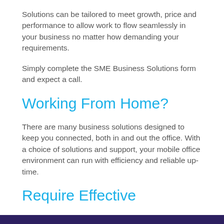Solutions can be tailored to meet growth, price and performance to allow work to flow seamlessly in your business no matter how demanding your requirements.
Simply complete the SME Business Solutions form and expect a call.
Working From Home?
There are many business solutions designed to keep you connected, both in and out the office. With a choice of solutions and support, your mobile office environment can run with efficiency and reliable up-time.
Require Effective